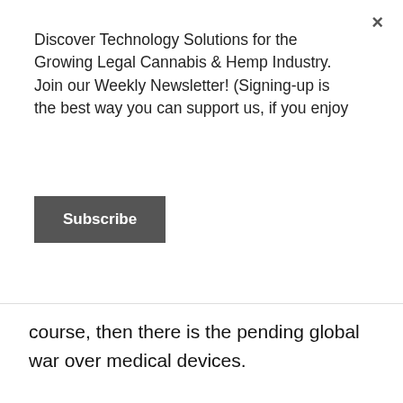Discover Technology Solutions for the Growing Legal Cannabis & Hemp Industry. Join our Weekly Newsletter! (Signing-up is the best way you can support us, if you enjoy
Subscribe
course, then there is the pending global war over medical devices.
Combine that with the R&D and private investment of other countries that Israel has strong diplomatic ties to who are also going through the medical cannabis experiment (most notably Germany but far from limited to that – see also China), and Israeli cannatech (or co-development with other countries) could well dominate the global industry for the next generation.